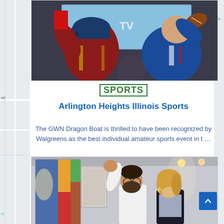[Figure (photo): Two people from behind watching sports on TV, one in red jersey holding a football]
SPORTS
Arlington Heights Illinois Sports
The GWN Dragon Boat is thrilled to have been recognized by Walgreens as the best individual amateur sports event in t …
[Figure (photo): A man with glasses and a woman with blonde hair looking at artwork in a gallery]